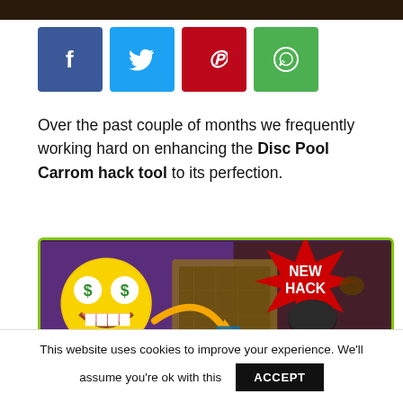[Figure (infographic): Row of four social share buttons: Facebook (blue, f), Twitter (cyan, bird), Pinterest (red, P), WhatsApp (green, phone)]
Over the past couple of months we frequently working hard on enhancing the Disc Pool Carrom hack tool to its perfection.
[Figure (screenshot): Game hack promotional banner with dark purple background, emoji with dollar-sign eyes, carrom board, star burst reading NEW HACK, and bold yellow text 999K RESOURCES]
This website uses cookies to improve your experience. We'll assume you're ok with this ACCEPT